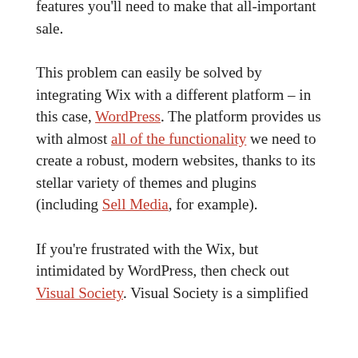features you'll need to make that all-important sale.
This problem can easily be solved by integrating Wix with a different platform – in this case, WordPress. The platform provides us with almost all of the functionality we need to create a robust, modern websites, thanks to its stellar variety of themes and plugins (including Sell Media, for example).
If you're frustrated with the Wix, but intimidated by WordPress, then check out Visual Society. Visual Society is a simplified